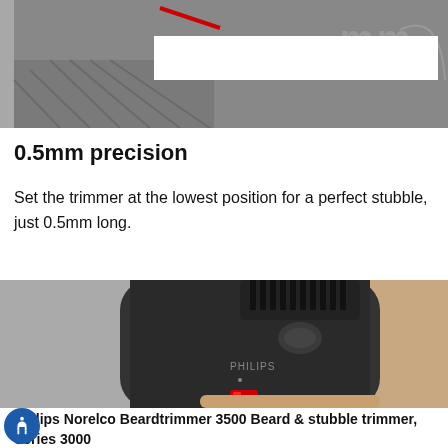[Figure (photo): Close-up of a Philips beard trimmer with mm scale markings visible, dark grey device with red accents, white redacted bar overlaid on the device image]
0.5mm precision
Set the trimmer at the lowest position for a perfect stubble, just 0.5mm long.
[Figure (photo): Close-up photograph of a Philips Norelco beard and stubble trimmer showing the comb attachment and PHILIPS branding on the dark grey device body, with red indicator lights visible at the bottom]
Philips Norelco Beardtrimmer 3500 Beard & stubble trimmer, Series 3000